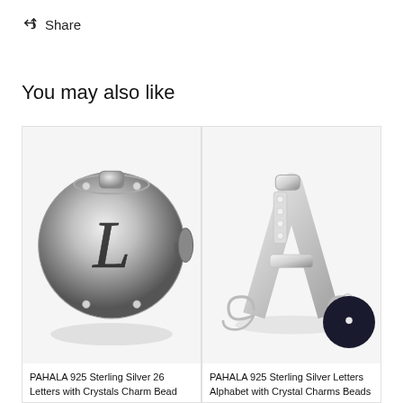Share
You may also like
[Figure (photo): PAHALA sterling silver charm bead with letter L and crystals, round ball shape with filigree design]
PAHALA 925 Sterling Silver 26 Letters with Crystals Charm Bead
[Figure (photo): PAHALA sterling silver letter A alphabet charm bead with crystals and decorative scrollwork]
PAHALA 925 Sterling Silver Letters Alphabet with Crystal Charms Beads